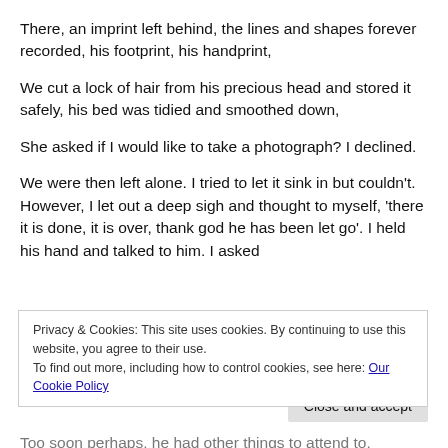There, an imprint left behind, the lines and shapes forever recorded, his footprint, his handprint,
We cut a lock of hair from his precious head and stored it safely, his bed was tidied and smoothed down,
She asked if I would like to take a photograph? I declined.
We were then left alone. I tried to let it sink in but couldn’t. However, I let out a deep sigh and thought to myself, ‘there it is done, it is over, thank god he has been let go’. I held his hand and talked to him. I asked
Privacy & Cookies: This site uses cookies. By continuing to use this website, you agree to their use.
To find out more, including how to control cookies, see here: Our Cookie Policy
Too soon perhaps, he had other things to attend to,